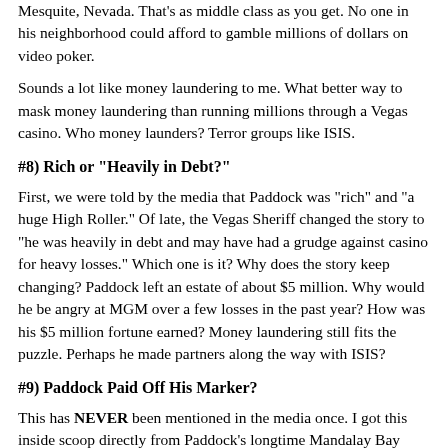Mesquite, Nevada. That's as middle class as you get. No one in his neighborhood could afford to gamble millions of dollars on video poker.
Sounds a lot like money laundering to me. What better way to mask money laundering than running millions through a Vegas casino. Who money launders? Terror groups like ISIS.
#8) Rich or "Heavily in Debt?"
First, we were told by the media that Paddock was "rich" and "a huge High Roller." Of late, the Vegas Sheriff changed the story to "he was heavily in debt and may have had a grudge against casino for heavy losses." Which one is it? Why does the story keep changing? Paddock left an estate of about $5 million. Why would he be angry at MGM over a few losses in the past year? How was his $5 million fortune earned? Money laundering still fits the puzzle. Perhaps he made partners along the way with ISIS?
#9) Paddock Paid Off His Marker?
This has NEVER been mentioned in the media once. I got this inside scoop directly from Paddock's longtime Mandalay Bay casino host. Paddock owed MGM $100,000. On Friday night before the massacre Paddock won $100,000 playing video poker. If he was planning to die on Sunday he certainly would have blown it